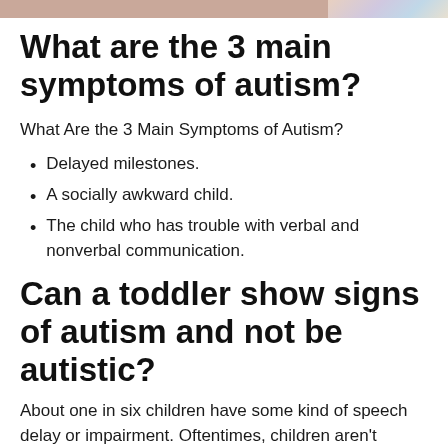[Figure (photo): Partial photo strip at top of page showing children or colorful objects]
What are the 3 main symptoms of autism?
What Are the 3 Main Symptoms of Autism?
Delayed milestones.
A socially awkward child.
The child who has trouble with verbal and nonverbal communication.
Can a toddler show signs of autism and not be autistic?
About one in six children have some kind of speech delay or impairment. Oftentimes, children aren't diagnosed with an autism spectrum disorder until age four or five, but